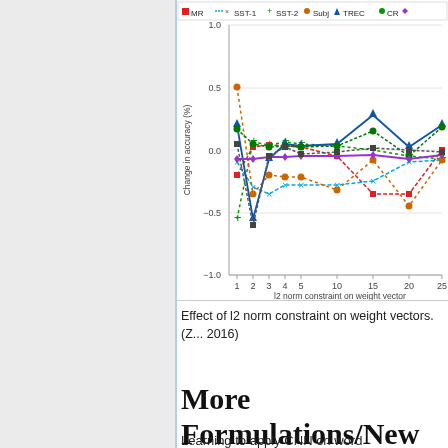[Figure (continuous-plot): Line chart showing the effect of l2 norm constraint on weight vectors on change in accuracy (%) across multiple datasets (MR, SST-1, SST-2, Subj, TREC, CR). X-axis shows l2 norm constraint values 1,2,3,4,5,10,15,20,25. Y-axis shows change in accuracy from -1.0 to 1.0. Multiple dashed and solid colored lines represent different datasets.]
Effect of l2 norm constraint on weight vectors. (Z... 2016)
More Formulations/New Concepts
Learning to apply CNN on word